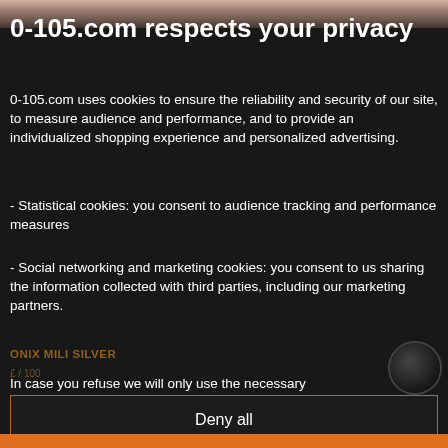[Figure (screenshot): Partial photo of a person/object visible at top of page behind privacy overlay]
0-105.com respects your privacy
0-105.com uses cookies to ensure the reliability and security of our site, to measure audience and performance, and to provide an individualized shopping experience and personalized advertising.
- Statistical cookies: you consent to audience tracking and performance measures
- Social networking and marketing cookies: you consent to us sharing the information collected with third parties, including our marketing partners.
In case you refuse we will only use the necessary
Deny all
Accept current selection